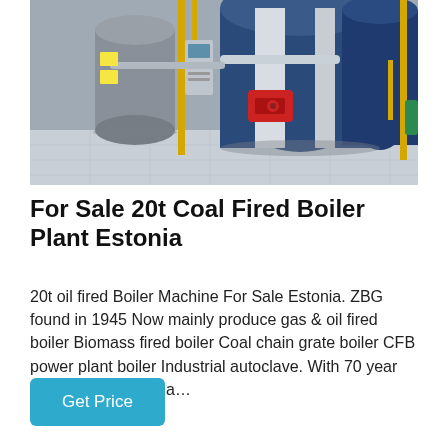[Figure (photo): Industrial boiler room with multiple horizontal cylindrical boilers in blue, white and grey, with yellow piping, a red burner unit, and control panels, on a tiled floor inside a warehouse.]
For Sale 20t Coal Fired Boiler Plant Estonia
20t oil fired Boiler Machine For Sale Estonia. ZBG found in 1945 Now mainly produce gas & oil fired boiler Biomass fired boiler Coal chain grate boiler CFB power plant boiler Industrial autoclave. With 70 year experience ZBG is a…
Get Price